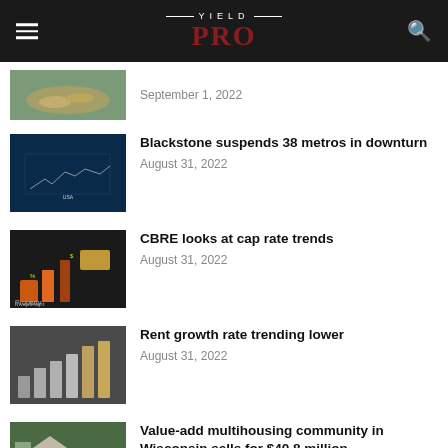YIELD PRO
September 1, 2022
Blackstone suspends 38 metros in downturn
August 31, 2022
CBRE looks at cap rate trends
August 31, 2022
Rent growth rate trending lower
August 31, 2022
Value-add multihousing community in Wisconsin sells for $40.8 million